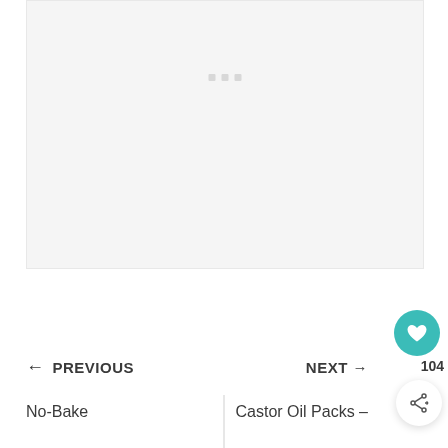[Figure (other): Light gray placeholder image area with three small square dots near top center, indicating a loading or empty image placeholder on a webpage]
← PREVIOUS
NEXT →
No-Bake
Castor Oil Packs –